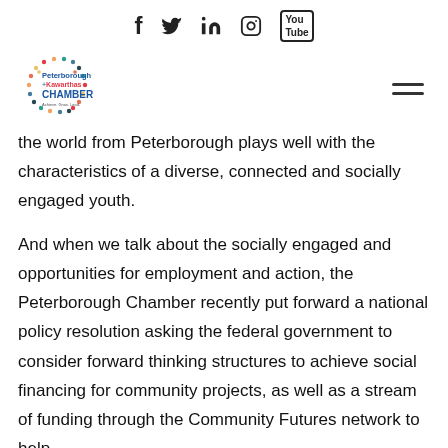f  🐦  in  📷  YouTube
[Figure (logo): Peterborough + Kawarthas Chamber logo with colorful dots circle and text 'Achieve. Grow. Lead.']
the world from Peterborough plays well with the characteristics of a diverse, connected and socially engaged youth.
And when we talk about the socially engaged and opportunities for employment and action, the Peterborough Chamber recently put forward a national policy resolution asking the federal government to consider forward thinking structures to achieve social financing for community projects, as well as a stream of funding through the Community Futures network to help